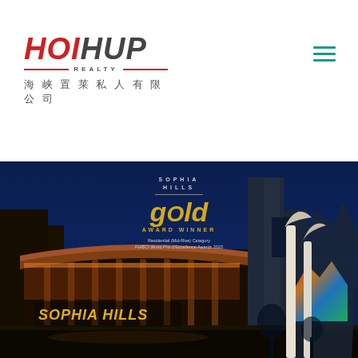[Figure (logo): Hoi Hup Realty logo with red HOI text, gray HUP text, REALTY subtext with red bars, and Chinese characters 海峡置莱私人有限公司]
[Figure (photo): Night photo of Sophia Hills residential development showing a building entrance with warm lighting, SOPHIA HILLS signage, and an award overlay showing Gold Award Winner, Residential Mid-Rise Category, FIABCI World Prix d'Excellence Awards 2020]